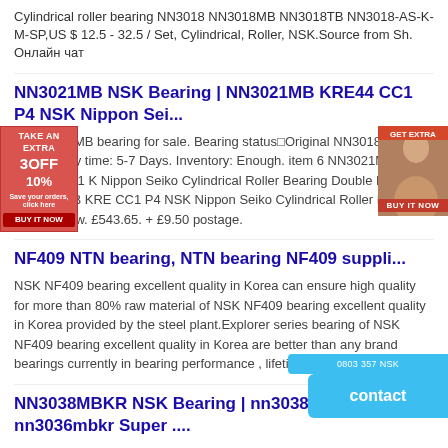Cylindrical roller bearing NN3018 NN3018MB NN3018TB NN3018-AS-K-M-SP,US $ 12.5 - 32.5 / Set, Cylindrical, Roller, NSK.Source from Sh. Онлайн чат
NN3021MB NSK Bearing | NN3021MB KRE44 CC1 P4 NSK Nippon Sei...
K NN3018MB bearing for sale. Bearing status□Original NN3018MB bear… very time: 5-7 Days. Inventory: Enough. item 6 NN3021MB KRE44 CC1 K Nippon Seiko Cylindrical Roller Bearing Double Row -NN3021MB KRE CC1 P4 NSK Nippon Seiko Cylindrical Roller Bearing Double Row. £543.65. + £9.50 postage.
NF409 NTN bearing, NTN bearing NF409 suppli...
NSK NF409 bearing excellent quality in Korea can ensure high quality for more than 80% raw material of NSK NF409 bearing excellent quality in Korea provided by the steel plant.Explorer series bearing of NSK NF409 bearing excellent quality in Korea are better than any brand bearings currently in bearing performance , lifetime, design, and the ...
NN3038MBKR NSK Bearing | nn3038mbkr nsk nn3036mbkr Super ....
NN3020TBKR NSK bearing - Quick quote, Adequate stock NN3020TBKR NSK NN3020TBKR bearing for sale. NSK NN3020TBKR bearing nsk nn3072 nsk nn3956mbkr nsk nn3952mbkr nsk nn3948mbkr nsk